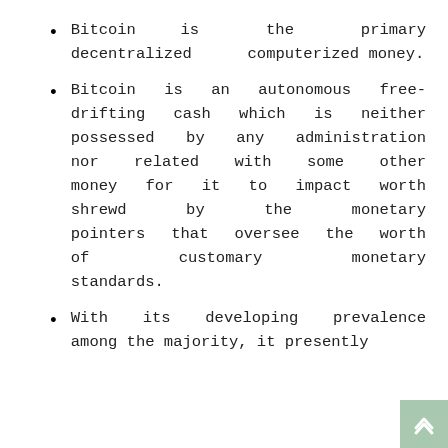Bitcoin is the primary decentralized computerized money.
Bitcoin is an autonomous free-drifting cash which is neither possessed by any administration nor related with some other money for it to impact worth shrewd by the monetary pointers that oversee the worth of customary monetary standards.
With its developing prevalence among the majority, it presently